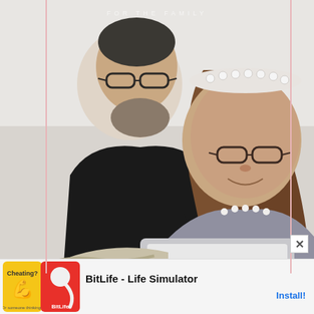[Figure (photo): A man with glasses and a beard wearing a black top leans over a woman with glasses wearing a pearl-studded grey sweater and pearl headband. Both are looking at a laptop. The image has decorative pink vertical border lines on the sides and faint text at top reading 'FOR THE FAMILY'.]
[Figure (screenshot): Mobile advertisement banner at bottom of screen. Shows 'Ad' label, two app icons (a muscle/cheating app and BitLife sperm icon on red background), text 'BitLife - Life Simulator' and 'Install!' button in blue. There is also an X close button on the right side.]